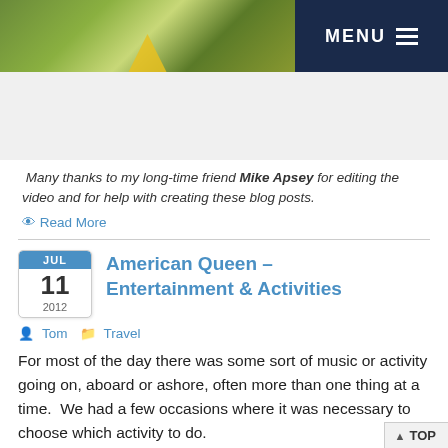[Figure (photo): Outdoor photo showing trees/foliage with a yellow sign, alongside a dark navy menu bar with MENU text and hamburger icon]
Many thanks to my long-time friend Mike Apsey for editing the video and for help with creating these blog posts.
Read More
American Queen – Entertainment & Activities
Tom   Travel
For most of the day there was some sort of music or activity going on, aboard or ashore, often more than one thing at a time.  We had a few occasions where it was necessary to choose which activity to do.
Off the boat (when docked) there were the free "Hop
▲ TOP